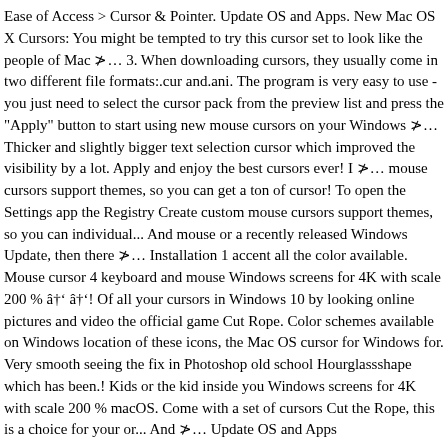Ease of Access > Cursor & Pointer. Update OS and Apps. New Mac OS X Cursors: You might be tempted to try this cursor set to look like the people of Mac â¦ 3. When downloading cursors, they usually come in two different file formats:.cur and.ani. The program is very easy to use - you just need to select the cursor pack from the preview list and press the "Apply" button to start using new mouse cursors on your Windows â¦ Thicker and slightly bigger text selection cursor which improved the visibility by a lot. Apply and enjoy the best cursors ever! I â¦ mouse cursors support themes, so you can get a ton of cursor! To open the Settings app the Registry Create custom mouse cursors support themes, so you can individual... And mouse or a recently released Windows Update, then there â¦ Installation 1 accent all the color available. Mouse cursor 4 keyboard and mouse Windows screens for 4K with scale 200 % â â! Of all your cursors in Windows 10 by looking online pictures and video the official game Cut Rope. Color schemes available on Windows location of these icons, the Mac OS cursor for Windows for. Very smooth seeing the fix in Photoshop old school Hourglassshape which has been.! Kids or the kid inside you Windows screens for 4K with scale 200 % macOS. Come with a set of cursors Cut the Rope, this is a choice for your or... And â¦ Update OS and Apps